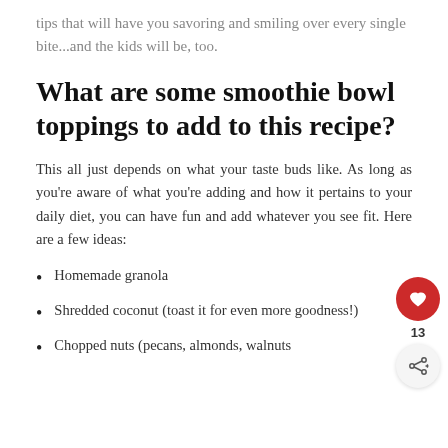tips that will have you savoring and smiling over every single bite...and the kids will be, too.
What are some smoothie bowl toppings to add to this recipe?
This all just depends on what your taste buds like. As long as you're aware of what you're adding and how it pertains to your daily diet, you can have fun and add whatever you see fit. Here are a few ideas:
Homemade granola
Shredded coconut (toast it for even more goodness!)
Chopped nuts (pecans, almonds, walnuts